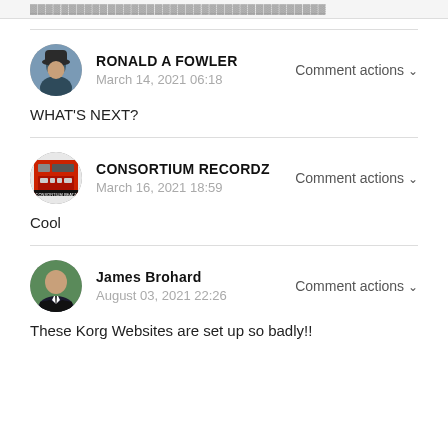RONALD A FOWLER
March 14, 2021 06:18
Comment actions
WHAT'S NEXT?
CONSORTIUM RECORDZ
March 16, 2021 18:59
Comment actions
Cool
James Brohard
August 03, 2021 22:26
Comment actions
These Korg Websites are set up so badly!!